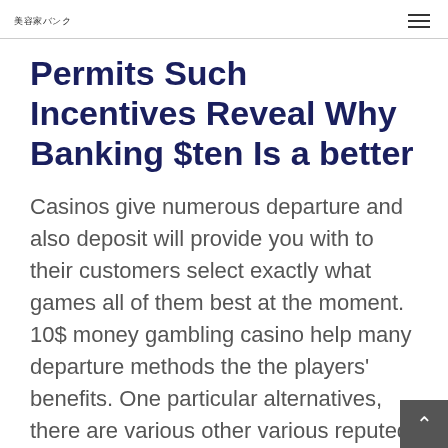美容家バンク
Permits Such Incentives Reveal Why Banking $ten Is a better
Casinos give numerous departure and also deposit will provide you with to their customers select exactly what games all of them best at the moment. 10$ money gambling casino help many departure methods the the players' benefits. One particular alternatives, there are various other various reputed technology you in